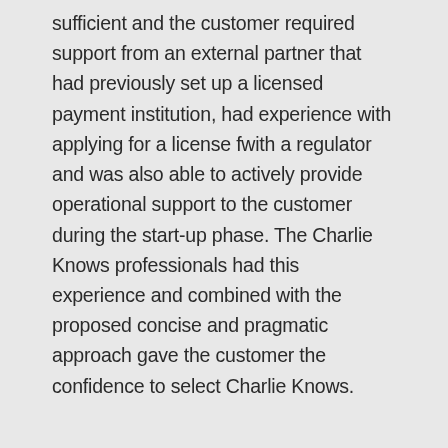sufficient and the customer required support from an external partner that had previously set up a licensed payment institution, had experience with applying for a license fwith a regulator and was also able to actively provide operational support to the customer during the start-up phase. The Charlie Knows professionals had this experience and combined with the proposed concise and pragmatic approach gave the customer the confidence to select Charlie Knows.